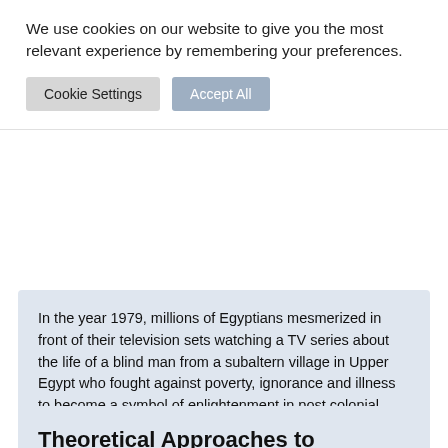We use cookies on our website to give you the most relevant experience by remembering your preferences.
Cookie Settings  Accept All
In the year 1979, millions of Egyptians mesmerized in front of their television sets watching a TV series about the life of a blind man from a subaltern village in Upper Egypt who fought against poverty, ignorance and illness to become a symbol of enlightenment in post colonial Egypt.
Read on ›
Theoretical Approaches to the Human Rights f…